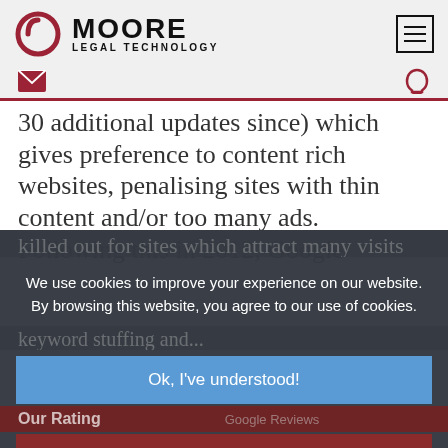[Figure (logo): Moore Legal Technology logo with circular red icon and bold text]
30 additional updates since) which gives preference to content rich websites, penalising sites with thin content and/or too many ads. Following this in 2012, Google
We use cookies to improve your experience on our website. By browsing this website, you agree to our use of cookies.
Ok, I've understood!
Decline
More Info